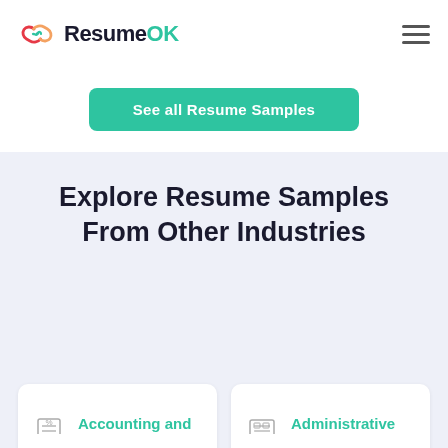[Figure (logo): ResumeOK logo with chain-link icon and teal OK text]
See all Resume Samples
Explore Resume Samples From Other Industries
Accounting and Auditing
Administrative and Clerical
Animal Care
Art, Creative and Design